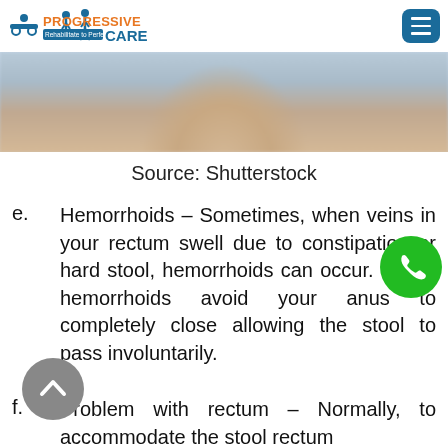[Figure (logo): Progressive Care logo with orange 'PROGRESSIVE' text, blue 'CARE' text, tagline 'Rehabilitate to Perfection', human figures, and a blue menu button in top right]
[Figure (photo): Blurred image of person sitting on toilet, cropped to show legs and torso]
Source: Shutterstock
e.      Hemorrhoids – Sometimes, when veins in your rectum swell due to constipation or hard stool, hemorrhoids can occur. These hemorrhoids avoid your anus to completely close allowing the stool to pass involuntarily.
f.      Problem with rectum – Normally, to accommodate the stool rectum